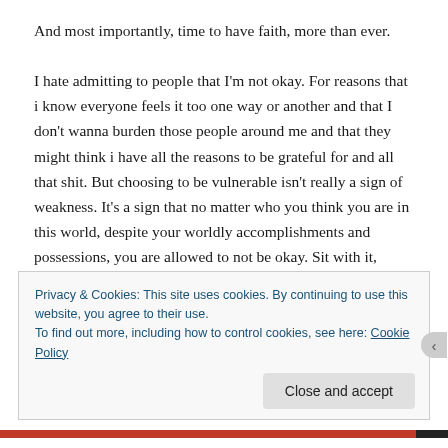And most importantly, time to have faith, more than ever.

I hate admitting to people that I'm not okay. For reasons that i know everyone feels it too one way or another and that I don't wanna burden those people around me and that they might think i have all the reasons to be grateful for and all that shit. But choosing to be vulnerable isn't really a sign of weakness. It's a sign that no matter who you think you are in this world, despite your worldly accomplishments and possessions, you are allowed to not be okay. Sit with it, journal it, listen and don't ignore. Feel the pain until there's nothing left. Everything falls into an
Privacy & Cookies: This site uses cookies. By continuing to use this website, you agree to their use.
To find out more, including how to control cookies, see here: Cookie Policy
Close and accept